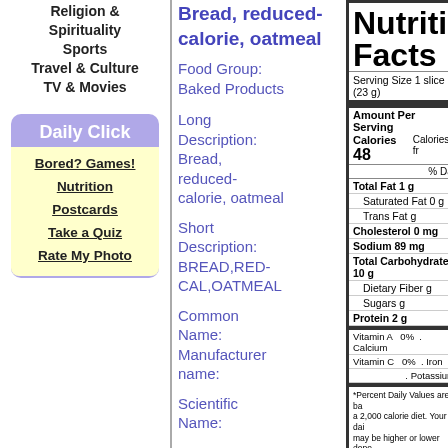Religion & Spirituality
Sports
Travel & Culture
TV & Movies
Daily Click
Bored? Games!
Nutrition
Postcards
Take a Quiz
Rate My Photo
Bread, reduced-calorie, oatmeal
Food Group: Baked Products
Long Description: Bread, reduced-calorie, oatmeal
Short Description: BREAD,RED-CAL,OATMEAL
Common Name: Manufacturer name:
Scientific Name:
| Serving Size 1 slice (23 g) |
| Amount Per Serving |
| Calories 48 | Calories fr |
| % Dai |
| Total Fat 1 g |
| Saturated Fat 0 g |
| Trans Fat g |
| Cholesterol 0 mg |
| Sodium 89 mg |
| Total Carbohydrate 10 g |
| Dietary Fiber g |
| Sugars g |
| Protein 2 g |
| Vitamin A  0%  . Calcium |
| Vitamin C  0%  . Iron |
| . Potassium |
| *Percent Daily Values are based on a 2,000 calorie diet. Your daily values may be higher or lower depending on your calorie needs: |